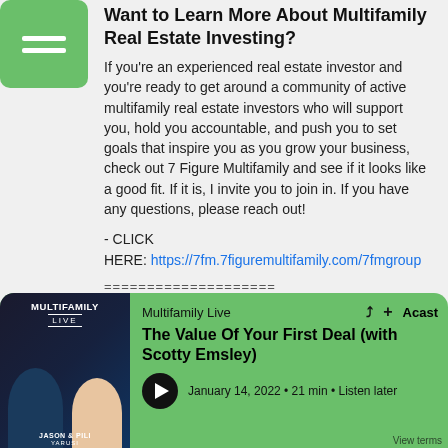[Figure (screenshot): Green hamburger menu button in top-left corner]
Want to Learn More About Multifamily Real Estate Investing?
If you're an experienced real estate investor and you're ready to get around a community of active multifamily real estate investors who will support you, hold you accountable, and push you to set goals that inspire you as you grow your business, check out 7 Figure Multifamily and see if it looks like a good fit. If it is, I invite you to join in. If you have any questions, please reach out!
- CLICK HERE: https://7fm.7figuremultifamily.com/7fmgroup
====================
Want to continue your multifamily real estate
[Figure (screenshot): Podcast player bar at bottom: Multifamily Live podcast, episode 'The Value Of Your First Deal (with Scotty Emsley)', January 14, 2022, 21 min, Listen later, with album art showing Jason & Pili Yarusi, play button, Acast branding]